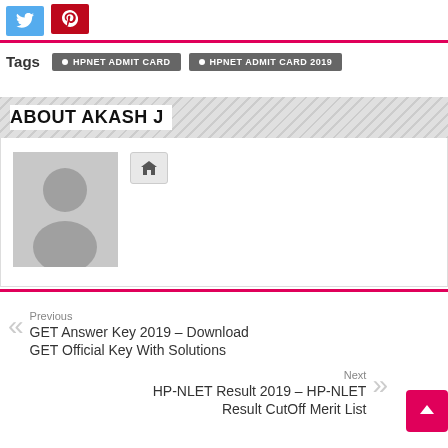[Figure (other): Social share buttons: Twitter (blue) and Pinterest (red)]
Tags  HPNET ADMIT CARD  HPNET ADMIT CARD 2019
ABOUT AKASH J
[Figure (photo): Generic user avatar placeholder (grey silhouette) with a home icon button]
Previous
GET Answer Key 2019 – Download GET Official Key With Solutions
Next
HP-NLET Result 2019 – HP-NLET Result CutOff Merit List